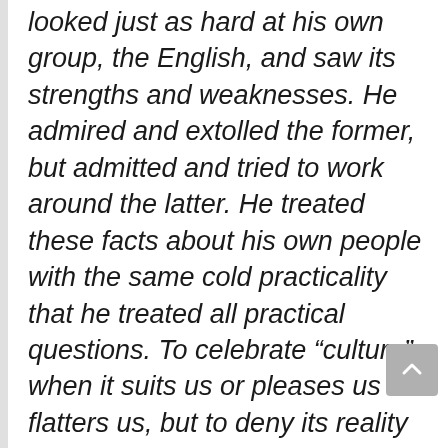looked just as hard at his own group, the English, and saw its strengths and weaknesses. He admired and extolled the former, but admitted and tried to work around the latter. He treated these facts about his own people with the same cold practicality that he treated all practical questions. To celebrate “culture” when it suits us or pleases us or flatters us, but to deny its reality and force when it does not, is ultimately dishonest. We need to understand people in the past as they understood themselves, not merely as chess pieces in our current